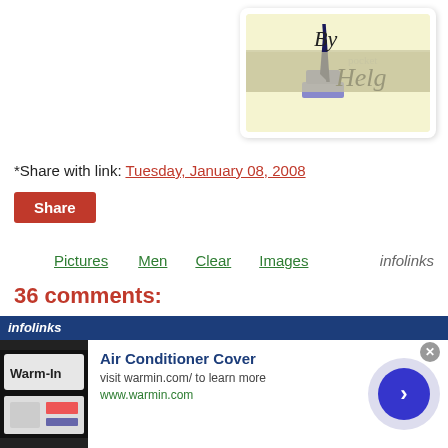[Figure (logo): Blog logo: ink pen with cursive text 'By Helg' on cream/tan background]
*Share with link: Tuesday, January 08, 2008
Share
Pictures   Men   Clear   Images   infolinks
36 comments:
[Figure (infographic): Infolinks advertisement banner: Air Conditioner Cover, visit warmin.com/ to learn more, www.warmin.com]